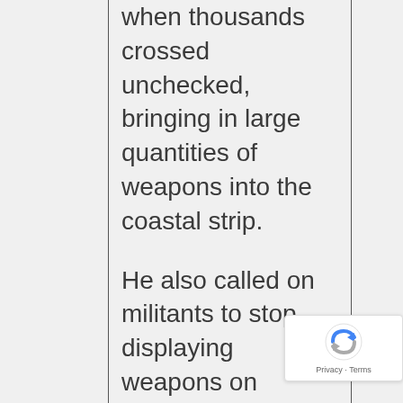when thousands crossed unchecked, bringing in large quantities of weapons into the coastal strip.

He also called on militants to stop displaying weapons on
[Figure (other): reCAPTCHA badge with privacy and terms link]